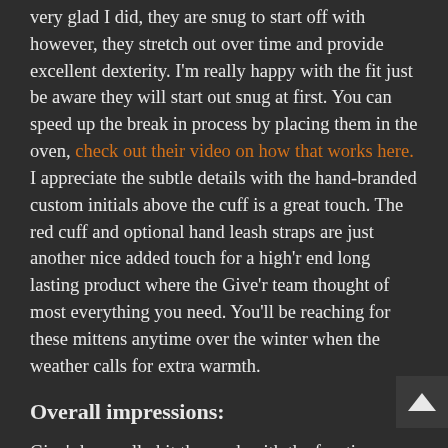very glad I did, they are snug to start off with however, they stretch out over time and provide excellent dexterity. I'm really happy with the fit just be aware they will start out snug at first. You can speed up the break in process by placing them in the oven, check out their video on how that works here. I appreciate the subtle details with the hand-branded custom initials above the cuff is a great touch. The red cuff and optional hand leash straps are just another nice added touch for a high'r end long lasting product where the Give'r team thought of most everything you need. You'll be reaching for these mittens anytime over the winter when the weather calls for extra warmth.
Overall impressions:
Give'r has really hit the mark with the frontier mitten, for a stylish workwear inspired bombproof piece. You'll be able to use these mittens for many years, and they'll just keep getting better the more they break in. I highly recommend these mittens if you ride in an area where it's cold during most of your winter season ( below 25ish degrees) or you want options to switch